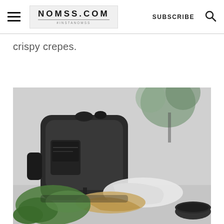NOMSS.COM #INSTANOMSS | SUBSCRIBE
crispy crepes.
[Figure (photo): Black and white photo of a countertop kitchen appliance (Ninja or similar multi-cooker/air fryer) in the background, with fresh green herbs/arugula and a folded crepe on a cloth, and a dark bowl on the right side foreground.]